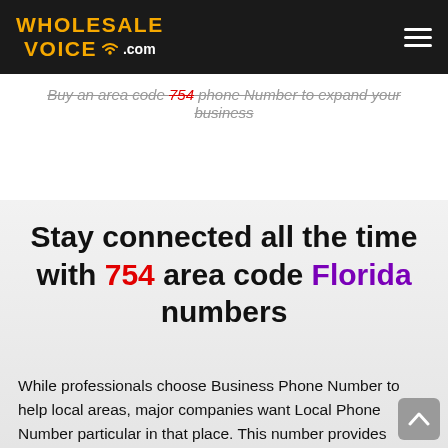WHOLESALE VOICE .com
Buy an area code 754 phone Number to expand your business
Stay connected all the time with 754 area code Florida numbers
While professionals choose Business Phone Number to help local areas, major companies want Local Phone Number particular in that place. This number provides